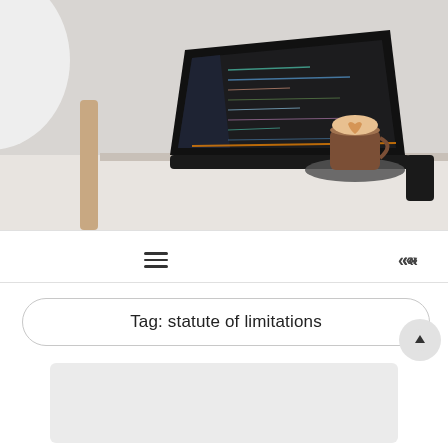[Figure (photo): A laptop with a dark code editor open sits on a white desk next to a coffee latte in a glass cup on a saucer. A modern white chair is partially visible in the upper left.]
≡   «
Tag: statute of limitations